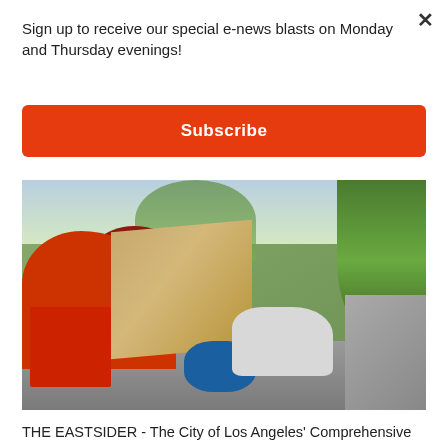Sign up to receive our special e-news blasts on Monday and Thursday evenings!
Subscribe
[Figure (photo): Street scene showing a homeless encampment with orange and red tents, cardboard, a shopping cart, bags, and belongings piled on a sidewalk next to a road, with green trees in the background]
THE EASTSIDER - The City of Los Angeles' Comprehensive Homeless Strategy was proudly announced back in 2016. You can find full information here.